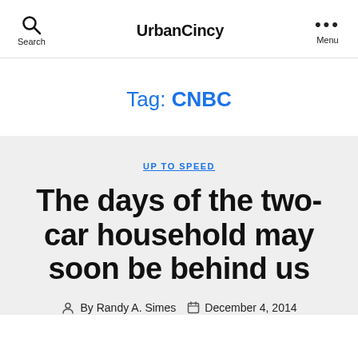UrbanCincy
Tag: CNBC
UP TO SPEED
The days of the two-car household may soon be behind us
By Randy A. Simes    December 4, 2014